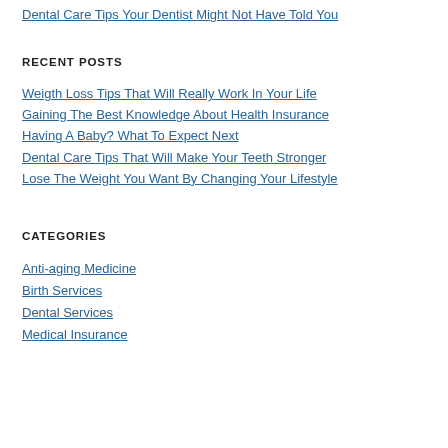Dental Care Tips Your Dentist Might Not Have Told You
RECENT POSTS
Weigth Loss Tips That Will Really Work In Your Life
Gaining The Best Knowledge About Health Insurance
Having A Baby? What To Expect Next
Dental Care Tips That Will Make Your Teeth Stronger
Lose The Weight You Want By Changing Your Lifestyle
CATEGORIES
Anti-aging Medicine
Birth Services
Dental Services
Medical Insurance